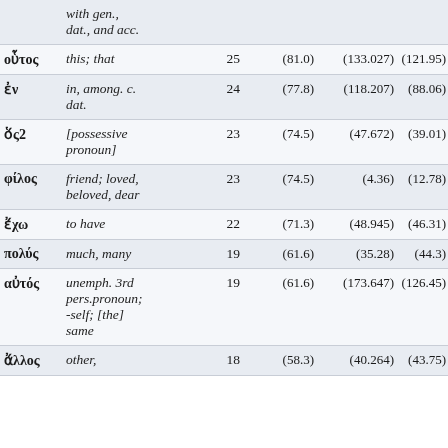|  | definition | count | stat1 | stat2 | stat3 |
| --- | --- | --- | --- | --- | --- |
|  | with gen., dat., and acc. |  |  |  |  |
| οὗτος | this; that | 25 | (81.0) | (133.027) | (121.95) |
| ἐν | in, among. c. dat. | 24 | (77.8) | (118.207) | (88.06) |
| ὅς2 | [possessive pronoun] | 23 | (74.5) | (47.672) | (39.01) |
| φίλος | friend; loved, beloved, dear | 23 | (74.5) | (4.36) | (12.78) |
| ἔχω | to have | 22 | (71.3) | (48.945) | (46.31) |
| πολύς | much, many | 19 | (61.6) | (35.28) | (44.3) |
| αὐτός | unemph. 3rd pers.pronoun; -self; [the] same | 19 | (61.6) | (173.647) | (126.45) |
| ἄλλος | other, | 18 | (58.3) | (40.264) | (43.75) |